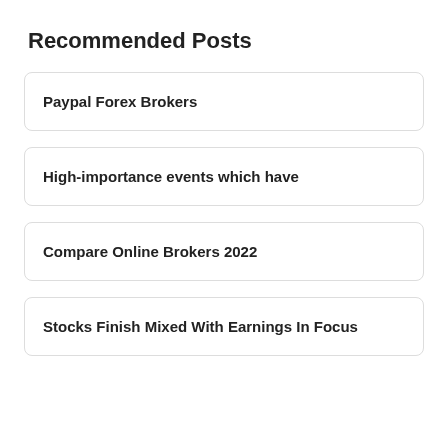Recommended Posts
Paypal Forex Brokers
High-importance events which have
Compare Online Brokers 2022
Stocks Finish Mixed With Earnings In Focus